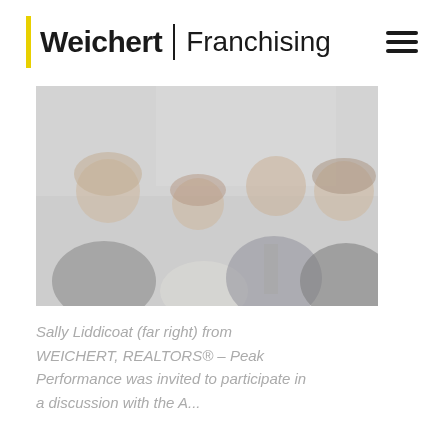Weichert | Franchising
[Figure (photo): Group photo of four people including Sally Liddicoat (far right) from WEICHERT, REALTORS – Peak Performance, faded/light toned image]
Sally Liddicat (far right) from WEICHERT, REALTORS® – Peak Performance was invited to participate in a discussion with the A...